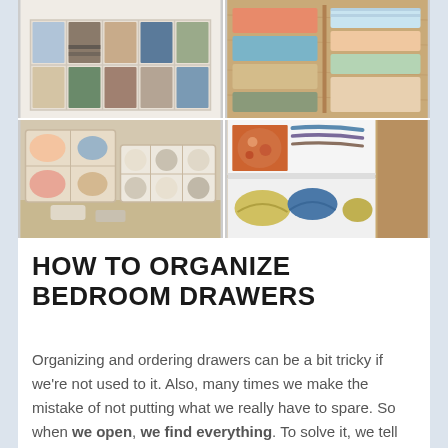[Figure (photo): 2x2 grid of four photos showing organized bedroom drawers: top-left shows white drawer dividers with folded clothes, top-right shows wooden drawer with colorful folded items, bottom-left shows fabric drawer organizers with undergarments and socks, bottom-right shows open white drawers with accessories and shoes]
HOW TO ORGANIZE BEDROOM DRAWERS
Organizing and ordering drawers can be a bit tricky if we're not used to it. Also, many times we make the mistake of not putting what we really have to spare. So when we open, we find everything. To solve it, we tell you how to